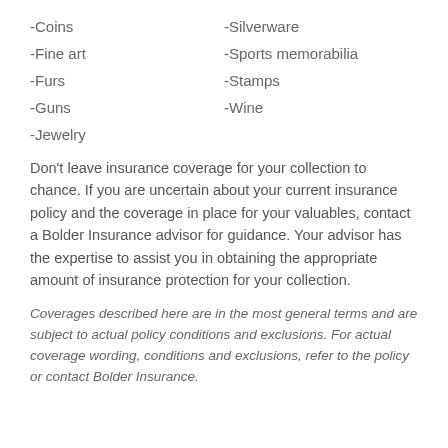-Coins
-Silverware
-Fine art
-Sports memorabilia
-Furs
-Stamps
-Guns
-Wine
-Jewelry
Don’t leave insurance coverage for your collection to chance. If you are uncertain about your current insurance policy and the coverage in place for your valuables, contact a Bolder Insurance advisor for guidance. Your advisor has the expertise to assist you in obtaining the appropriate amount of insurance protection for your collection.
Coverages described here are in the most general terms and are subject to actual policy conditions and exclusions. For actual coverage wording, conditions and exclusions, refer to the policy or contact Bolder Insurance.